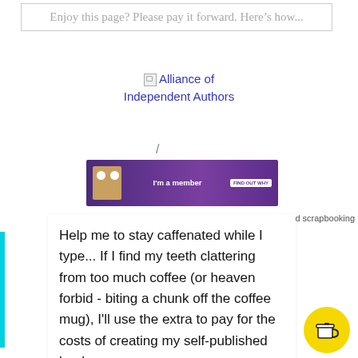Enjoy this page? Please pay it forward. Here's how...
[Figure (logo): Alliance of Independent Authors logo with broken image icon and purple banner saying I'm a member FIND OUT WHY]
d scrapbooking
Help me to stay caffenated while I type... If I find my teeth clattering from too much coffee (or heaven forbid - biting a chunk off the coffee mug), I'll use the extra to pay for the costs of creating my self-published books.
[Figure (illustration): Yellow circle button with coffee cup icon (Buy Me a Coffee style)]